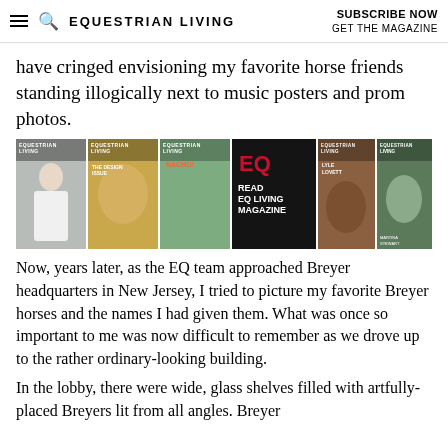EQUESTRIAN LIVING | SUBSCRIBE NOW GET THE MAGAZINE
have cringed envisioning my favorite horse friends standing illogically next to music posters and prom photos.
[Figure (photo): A horizontal strip of multiple Equestrian Living magazine covers, including one dark cover with EQ logo and text READ EQ LIVING MAGAZINE.]
Now, years later, as the EQ team approached Breyer headquarters in New Jersey, I tried to picture my favorite Breyer horses and the names I had given them. What was once so important to me was now difficult to remember as we drove up to the rather ordinary-looking building.
In the lobby, there were wide, glass shelves filled with artfully-placed Breyers lit from all angles. Breyer